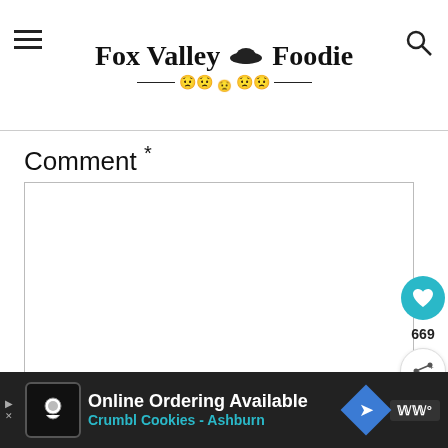[Figure (screenshot): Fox Valley Foodie website header with hamburger menu on left, site logo in center with fedora hat icon and decorative face icons, and search icon on right]
Comment *
[Figure (screenshot): Empty comment text area input box with border]
[Figure (screenshot): Social sidebar with teal like/heart button showing 669 likes and a share button]
[Figure (screenshot): What's Next panel showing Dry Rub for Ribs with thumbnail]
[Figure (screenshot): Advertisement banner for Crumbl Cookies - Ashburn Online Ordering Available]